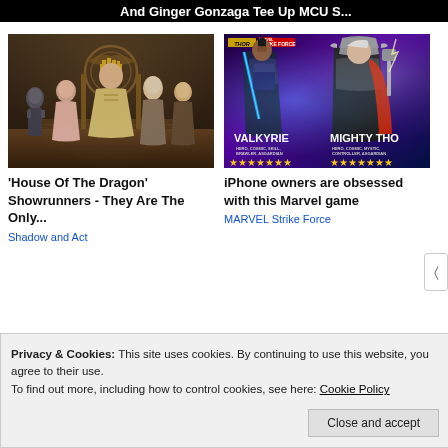And Ginger Gonzaga Tee Up MCU S...
[Figure (photo): House of Dragon cast photo — several characters in regal costumes standing in a throne room with Targaryen sigil in background]
[Figure (illustration): Marvel Strike Force game art showing Valkyrie and Mighty Thor characters with star ratings]
'House Of The Dragon' Showrunners - They Are The Only...
Shadow and Act
iPhone owners are obsessed with this Marvel game
MARVEL Strike Force
Privacy & Cookies: This site uses cookies. By continuing to use this website, you agree to their use.
To find out more, including how to control cookies, see here: Cookie Policy
Close and accept